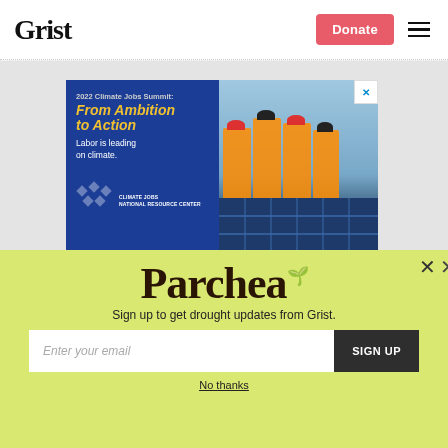Grist
[Figure (screenshot): Advertisement for 2022 Climate Jobs Summit: From Ambition to Action. Left side has blue background with yellow bold text headline and white subtext 'Labor is leading on climate.' with Climate Jobs National Resource Center logo. Right side shows workers in orange safety vests and hard hats holding a solar panel against a blue sky, and the lower portion shows close-up of solar panels.]
Parched
Sign up to get drought updates from Grist.
Enter your email
SIGN UP
No thanks